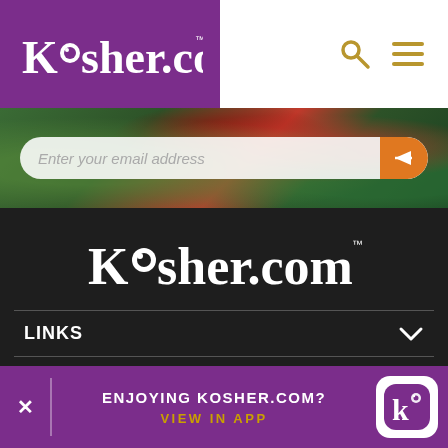[Figure (screenshot): Kosher.com website header with purple logo background on left and search/menu icons on right on white background]
[Figure (screenshot): Email input field with placeholder 'Enter your email address' overlaid on vegetable background image]
[Figure (logo): Kosher.com logo in white text on dark background]
LINKS
[Figure (screenshot): Social media icons row: Facebook, Instagram, Pinterest, YouTube - white circles on dark background]
[Figure (screenshot): App download banner: ENJOYING KOSHER.COM? VIEW IN APP with app icon]